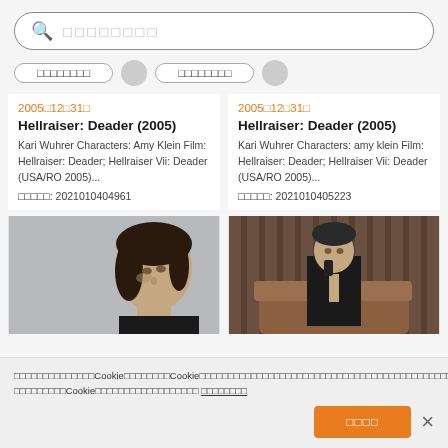🔍 □□□□□□□□ (search bar placeholder)
2005□12□31□  |  Hellraiser: Deader (2005)  |  Kari Wuhrer Characters: Amy Klein Film: Hellraiser: Deader; Hellraiser Vii: Deader (USA/RO 2005)...  □□□□□: 2021010404961
2005□12□31□  |  Hellraiser: Deader (2005)  |  Kari Wuhrer Characters: amy klein Film: Hellraiser: Deader; Hellraiser Vii: Deader (USA/RO 2005)...  □□□□□: 2021010405223
[Figure (photo): Woman with dark hair looking upward, close-up portrait, gritty background]
[Figure (photo): Person sitting in chair holding phone, dark outfit, striped background]
□□□□□□□□□□□□□□Cookie□□□□□□□□Cookie□□□□□□□□□□□□□□□□□□□□□□□□□□□□□□□□□□□□□□□□□□□□□□□□□□□□□□Cookie□□□□□□□□□□□□□□□□□ □□□□□□□□